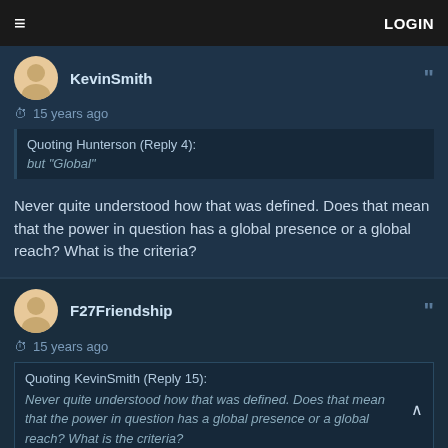LOGIN
KevinSmith
15 years ago
Quoting Hunterson (Reply 4): but "Global"
Never quite understood how that was defined. Does that mean that the power in question has a global presence or a global reach? What is the criteria?
F27Friendship
15 years ago
Quoting KevinSmith (Reply 15): Never quite understood how that was defined. Does that mean that the power in question has a global presence or a global reach? What is the criteria?
as the topic starter I can reveal it was my intention to leave the